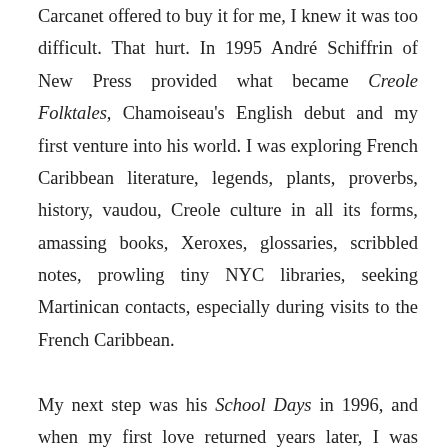Carcanet offered to buy it for me, I knew it was too difficult. That hurt. In 1995 André Schiffrin of New Press provided what became Creole Folktales, Chamoiseau's English debut and my first venture into his world. I was exploring French Caribbean literature, legends, plants, proverbs, history, vaudou, Creole culture in all its forms, amassing books, Xeroxes, glossaries, scribbled notes, prowling tiny NYC libraries, seeking Martinican contacts, especially during visits to the French Caribbean.
My next step was his School Days in 1996, and when my first love returned years later, I was ready: the magical-comical saga of the Chronicle of the Seven Sorrows appeared in 1999. L'Esclave vieil homme et le